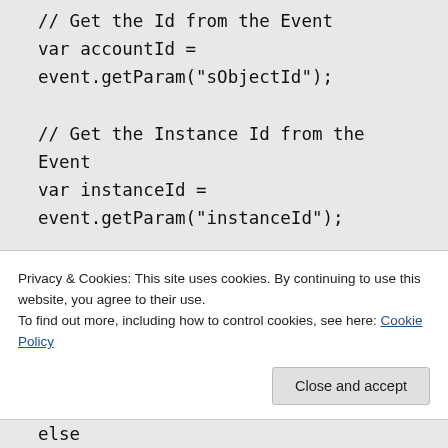// Get the Id from the Event
var accountId =
event.getParam("sObjectId");

// Get the Instance Id from the Event
var instanceId =
event.getParam("instanceId");

// Determine the instance Id of the component that fired the event
if (instanceId == "MyAccount")
Privacy & Cookies: This site uses cookies. By continuing to use this website, you agree to their use.
To find out more, including how to control cookies, see here: Cookie Policy
else